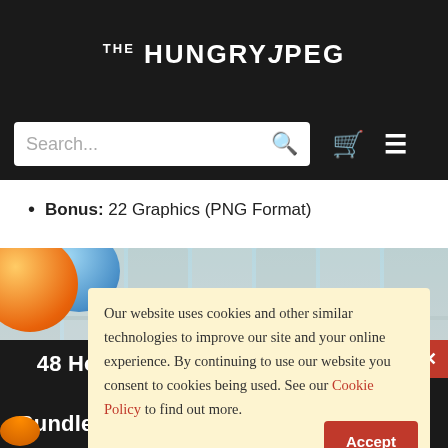THE HUNGRY JPEG
[Figure (screenshot): Search bar with magnifying glass icon, shopping cart icon, and hamburger menu icon on dark background]
Bonus: 22 Graphics (PNG Format)
[Figure (photo): Background photo showing colorful balloons (orange and blue) against a light blue painted wood fence background]
Our website uses cookies and other similar technologies to improve our site and your online experience. By continuing to use our website you consent to cookies being used. See our Cookie Policy to find out more.
Accept
48 Hours Only! Get 20% Off The Font Bundle Season 1! Code: S1FONT20